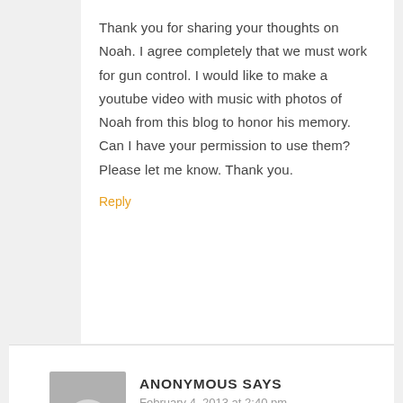Thank you for sharing your thoughts on Noah. I agree completely that we must work for gun control. I would like to make a youtube video with music with photos of Noah from this blog to honor his memory. Can I have your permission to use them? Please let me know. Thank you.
Reply
[Figure (photo): Anonymous user avatar placeholder — grey rectangle with circular silhouette]
ANONYMOUS SAYS
February 4, 2013 at 2:40 pm